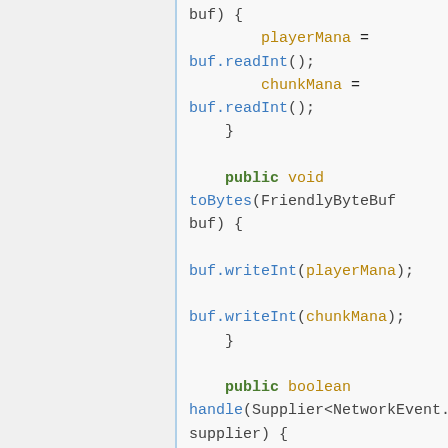[Figure (screenshot): Code editor screenshot showing Java code with syntax highlighting. The code shows a method reading playerMana and chunkMana from a buffer using readInt(), a toBytes method writing them with writeInt(), and a handle method with NetworkEvent.Context and enqueueWork.]